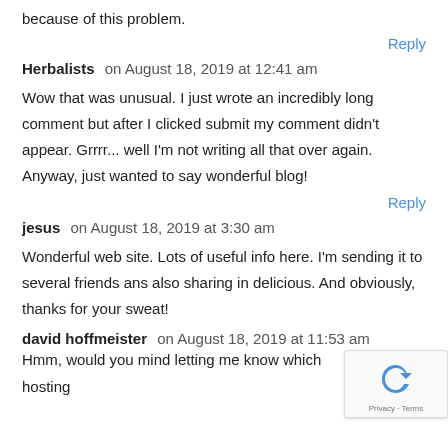because of this problem.
Reply
Herbalists   on August 18, 2019 at 12:41 am
Wow that was unusual. I just wrote an incredibly long comment but after I clicked submit my comment didn't appear. Grrrr... well I'm not writing all that over again. Anyway, just wanted to say wonderful blog!
Reply
jesus   on August 18, 2019 at 3:30 am
Wonderful web site. Lots of useful info here. I'm sending it to several friends ans also sharing in delicious. And obviously, thanks for your sweat!
david hoffmeister   on August 18, 2019 at 11:53 am
Hmm, would you mind letting me know which hosting...